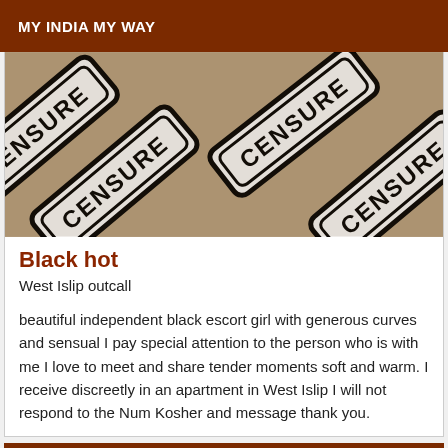MY INDIA MY WAY
[Figure (photo): Censored image showing multiple overlapping CENSURE signs/stamps in black and white, rotated at various angles, with a partially visible background.]
Black hot
West Islip outcall
beautiful independent black escort girl with generous curves and sensual I pay special attention to the person who is with me I love to meet and share tender moments soft and warm. I receive discreetly in an apartment in West Islip I will not respond to the Num Kosher and message thank you.
Verified